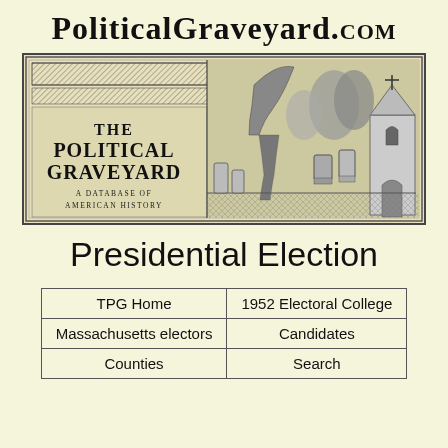PoliticalGraveyard.com
[Figure (illustration): The Political Graveyard banner illustration showing a graveyard scene with tombstones, trees, and gothic architecture. Text reads 'THE POLITICAL GRAVEYARD - A Database of American History']
Presidential Election
| TPG Home | 1952 Electoral College |
| Massachusetts electors | Candidates |
| Counties | Search |